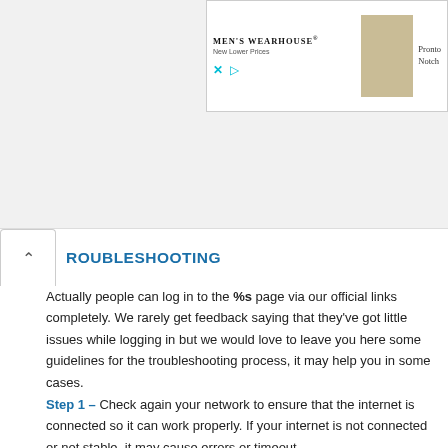[Figure (screenshot): Men's Wearhouse advertisement banner with logo, tagline 'New Lower Prices', a figure in a suit, and text 'Pronto Notch']
TROUBLESHOOTING
Actually people can log in to the %s page via our official links completely. We rarely get feedback saying that they've got little issues while logging in but we would love to leave you here some guidelines for the troubleshooting process, it may help you in some cases.
Step 1 – Check again your network to ensure that the internet is connected so it can work properly. If your internet is not connected or not stable, it may cause errors or timeout.
Step 2 – Make sure that you have entered your correct details. If your username or password is incorrect, you